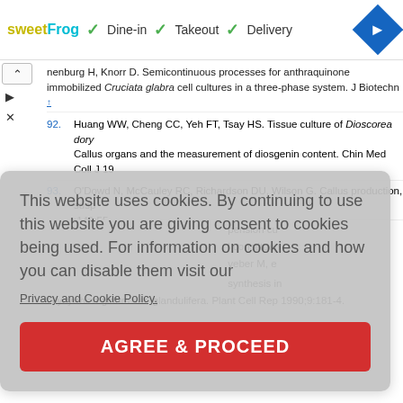sweetFrog ✓ Dine-in ✓ Takeout ✓ Delivery [navigation icon]
nenburg H, Knorr D. Semicontinuous processes for anthraquinone immobilized Cruciata glabra cell cultures in a three-phase system. J Biotechn ↑
92. Huang WW, Cheng CC, Yeh FT, Tsay HS. Tissue culture of Dioscorea dory Callus organs and the measurement of diosgenin content. Chin Med Coll J 19
93. O'Dowd N, McCauley RC, Richardson DU, Wilson G. Callus production, susp :149:55. ↑
pension cu
l constituen
veber M, e :256-9. ↑
synthesis in
Glycyrrhiza glabra var. glandulifera. Plant Cell Rep 1990;9:181-4.
This website uses cookies. By continuing to use this website you are giving consent to cookies being used. For information on cookies and how you can disable them visit our Privacy and Cookie Policy.
AGREE & PROCEED